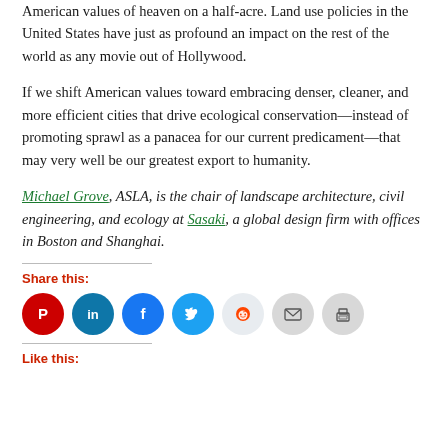American values of heaven on a half-acre. Land use policies in the United States have just as profound an impact on the rest of the world as any movie out of Hollywood.
If we shift American values toward embracing denser, cleaner, and more efficient cities that drive ecological conservation—instead of promoting sprawl as a panacea for our current predicament—that may very well be our greatest export to humanity.
Michael Grove, ASLA, is the chair of landscape architecture, civil engineering, and ecology at Sasaki, a global design firm with offices in Boston and Shanghai.
Share this:
[Figure (infographic): Row of social sharing icon buttons: Pinterest (red), LinkedIn (blue), Facebook (blue), Twitter (light blue), Reddit (light gray), Email (gray), Print (gray)]
Like this: